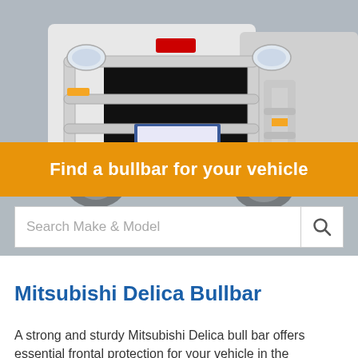[Figure (photo): Photo of Mitsubishi vehicles with chrome bullbars/grille guards on the front, showing close-up front view of SUV/truck with bullbar protection]
Find a bullbar for your vehicle
Search Make & Model
Mitsubishi Delica Bullbar
A strong and sturdy Mitsubishi Delica bull bar offers essential frontal protection for your vehicle in the